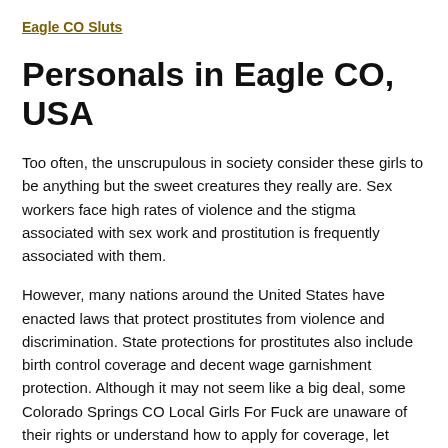Eagle CO Sluts
Personals in Eagle CO, USA
Too often, the unscrupulous in society consider these girls to be anything but the sweet creatures they really are. Sex workers face high rates of violence and the stigma associated with sex work and prostitution is frequently associated with them.
However, many nations around the United States have enacted laws that protect prostitutes from violence and discrimination. State protections for prostitutes also include birth control coverage and decent wage garnishment protection. Although it may not seem like a big deal, some Colorado Springs CO Local Girls For Fuck are unaware of their rights or understand how to apply for coverage, let alone understand the meaning of a wage garnishment.
Prostitutes have the same fundamental rights as other Americans. They should have access to reasonable health care services and